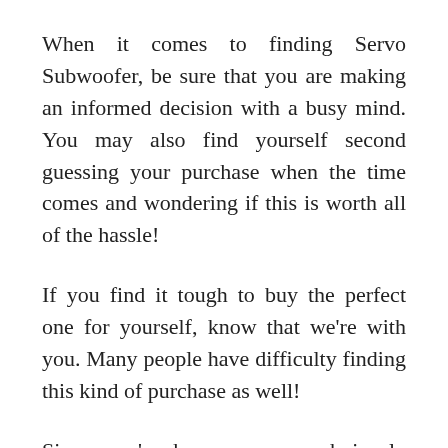When it comes to finding Servo Subwoofer, be sure that you are making an informed decision with a busy mind. You may also find yourself second guessing your purchase when the time comes and wondering if this is worth all of the hassle!
If you find it tough to buy the perfect one for yourself, know that we're with you. Many people have difficulty finding this kind of purchase as well!
Since you're here, you are obviously curious about Turbo For 1.6 Miata Reviews. You've been bombarded with information, so you need to find a reputable source with credible options before you make any decisions on which